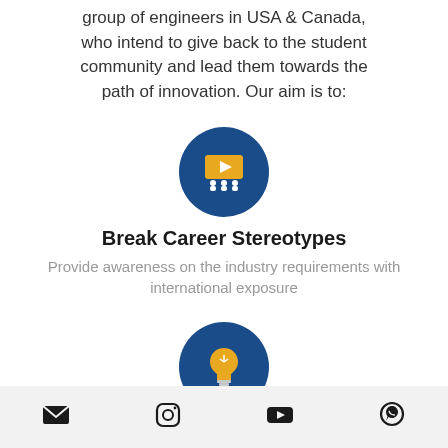group of engineers in USA & Canada, who intend to give back to the student community and lead them towards the path of innovation. Our aim is to:
[Figure (illustration): Dark blue circle icon with a yellow presentation screen showing a play button and three audience silhouettes underneath]
Break Career Stereotypes
Provide awareness on the industry requirements with international exposure
[Figure (illustration): Dark blue circle icon with a yellow lightbulb]
Inspire Innovation
Inspire students on how they can leverage this knowledge and skills to
Email | Instagram | YouTube | WhatsApp icons